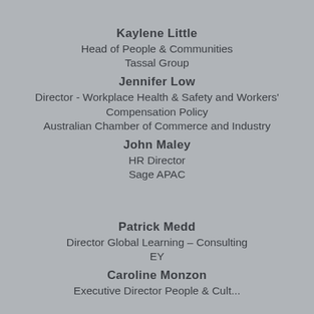Kaylene Little
Head of People & Communities
Tassal Group
Jennifer Low
Director - Workplace Health & Safety and Workers' Compensation Policy
Australian Chamber of Commerce and Industry
John Maley
HR Director
Sage APAC
Patrick Medd
Director Global Learning – Consulting
EY
Caroline Monzon
Executive Director People & Cult...